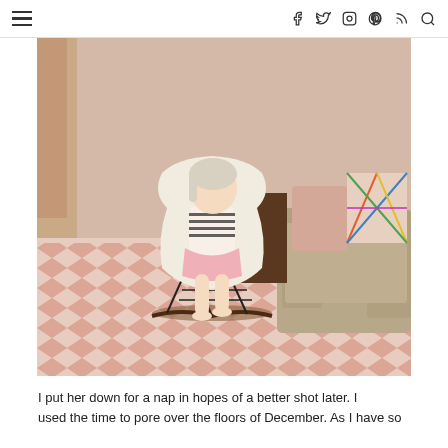≡  f  t  IG  P  RSS  🔍
[Figure (photo): A young blonde toddler girl wearing a striped top and pink skirt sits in a white Eames-style rocking chair on a pink chevron rug, with a tan sofa and colorful geometric pillow visible in the background.]
I put her down for a nap in hopes of a better shot later. I used the time to pore over the floors of December. As I have so...